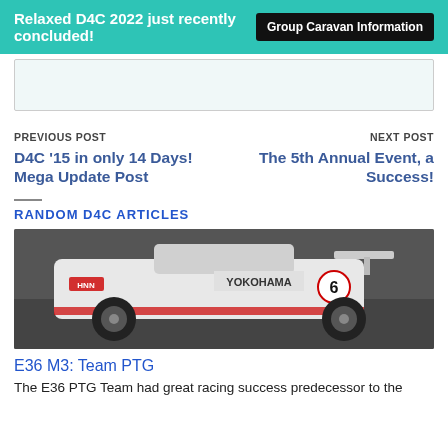Relaxed D4C 2022 just recently concluded! | Group Caravan Information
[Figure (screenshot): Empty comment/form box with light gray background]
PREVIOUS POST
D4C ’15 in only 14 Days! Mega Update Post
NEXT POST
The 5th Annual Event, a Success!
RANDOM D4C ARTICLES
[Figure (photo): A white BMW E36 M3 race car with number 6 and Yokohama branding on a racetrack]
E36 M3: Team PTG
The E36 PTG Team had great racing success predecessor to the